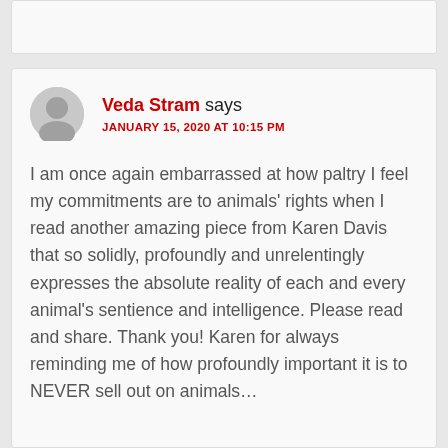Veda Stram says
JANUARY 15, 2020 AT 10:15 PM
I am once again embarrassed at how paltry I feel my commitments are to animals' rights when I read another amazing piece from Karen Davis that so solidly, profoundly and unrelentingly expresses the absolute reality of each and every animal's sentience and intelligence. Please read and share. Thank you! Karen for always reminding me of how profoundly important it is to NEVER sell out on animals…